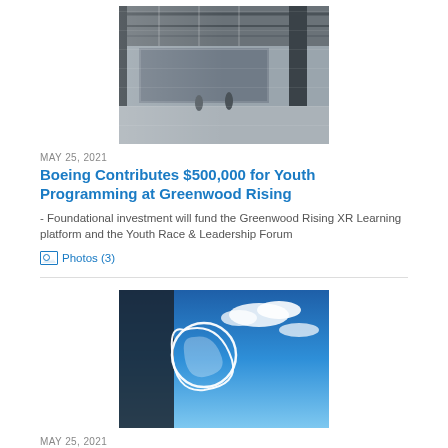[Figure (photo): Interior of Greenwood Rising building showing an open lobby/hall area with dark ceiling, polished concrete floor, and a large mural or display on the wall]
MAY 25, 2021
Boeing Contributes $500,000 for Youth Programming at Greenwood Rising
- Foundational investment will fund the Greenwood Rising XR Learning platform and the Youth Race & Leadership Forum
Photos (3)
[Figure (photo): Boeing logo sign on a building exterior against a bright blue sky with white clouds]
MAY 25, 2021
SMBC Aviation Capital Orders 14 Boeing 737 MAX Jets